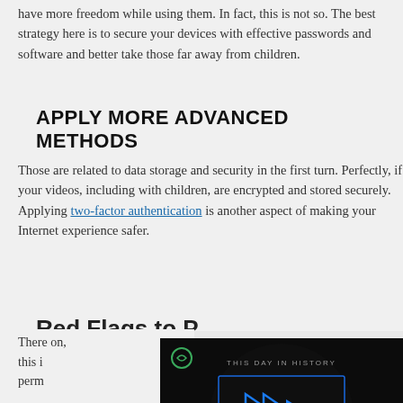have more freedom while using them. In fact, this is not so. The best strategy here is to secure your devices with effective passwords and software and better take those far away from children.
APPLY MORE ADVANCED METHODS
Those are related to data storage and security in the first turn. Perfectly, if your videos, including with children, are encrypted and stored securely. Applying two-factor authentication is another aspect of making your Internet experience safer.
Red Flags to P
You may probably think and that is true at some that signify that your we There on, this i perm
[Figure (screenshot): A dark video player overlay showing 'THIS DAY IN HISTORY' with blue play button icons and AUGUST label, with a mute icon in the lower left.]